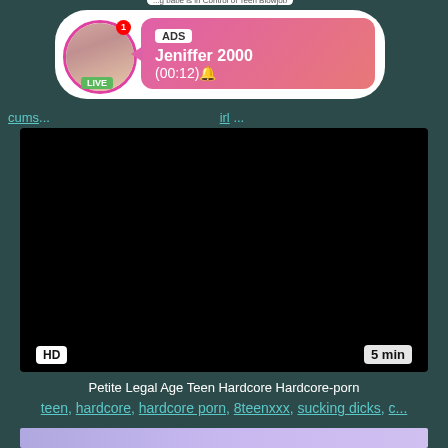[Figure (screenshot): Ad overlay with live stream avatar of a young woman, pink badge showing ADS label, username Jeniffer 2000, timer (00:12), LIVE badge, and notification dot]
cums... ...irl ...
[Figure (screenshot): Dark/black video player area with HD badge bottom-left and 5 min duration badge bottom-right]
Petite Legal Age Teen Hardcore Hardcore-porn
teen, hardcore, hardcore porn, 8teenxxx, sucking dicks, c...
[Figure (screenshot): Bottom thumbnail preview showing partial video content with purple/lavender background]